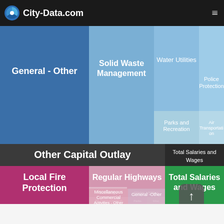City-Data.com
[Figure (other): Treemap chart showing government expenditure categories including General-Other, Solid Waste Management, Water Utilities, Police Protection, Parks and Recreation, Air Transportation, Other Capital Outlay, Total Salaries and Wages, Local Fire Protection, Regular Highways, Sewerage, Water Utilities, Miscellaneous Commercial Activities-Other, Air Transportation, Parks and Recreation, General-Other, Total Salaries and Wages]